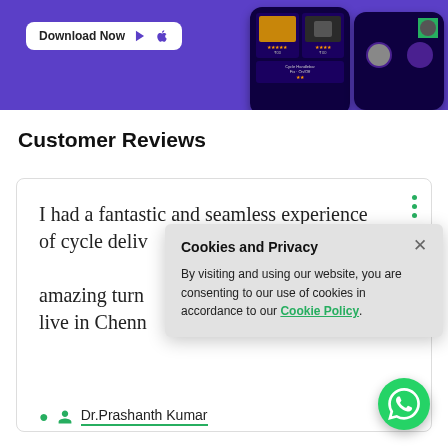[Figure (screenshot): Purple app banner with Download Now button (Google Play and Apple icons) and phone mockup screenshots showing product listings and user profiles]
Customer Reviews
I had a fantastic and seamless experience of cycle delivery amazing turn live in Chenn
Dr.Prashanth Kumar
[Figure (screenshot): Cookies and Privacy popup: 'By visiting and using our website, you are consenting to our use of cookies in accordance to our Cookie Policy.']
[Figure (logo): WhatsApp round green button icon in bottom right corner]